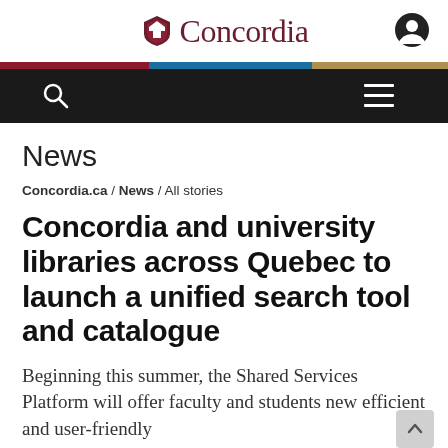Concordia
News
Concordia.ca / News / All stories
Concordia and university libraries across Quebec to launch a unified search tool and catalogue
Beginning this summer, the Shared Services Platform will offer faculty and students new efficient and user-friendly